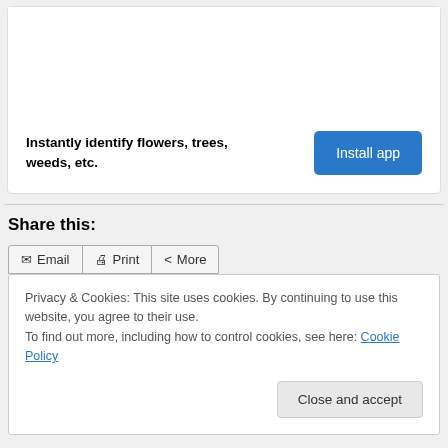Instantly identify flowers, trees, weeds, etc.
Share this:
Privacy & Cookies: This site uses cookies. By continuing to use this website, you agree to their use.
To find out more, including how to control cookies, see here: Cookie Policy